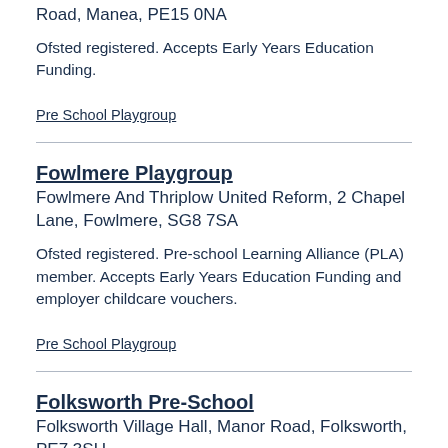Road, Manea, PE15 0NA
Ofsted registered. Accepts Early Years Education Funding.
Pre School Playgroup
Fowlmere Playgroup
Fowlmere And Thriplow United Reform, 2 Chapel Lane, Fowlmere, SG8 7SA
Ofsted registered. Pre-school Learning Alliance (PLA) member. Accepts Early Years Education Funding and employer childcare vouchers.
Pre School Playgroup
Folksworth Pre-School
Folksworth Village Hall, Manor Road, Folksworth, PE7 3SU